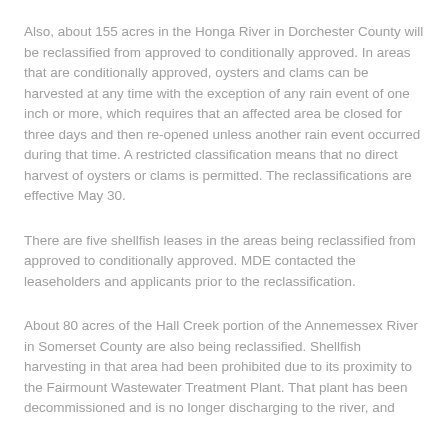Also, about 155 acres in the Honga River in Dorchester County will be reclassified from approved to conditionally approved. In areas that are conditionally approved, oysters and clams can be harvested at any time with the exception of any rain event of one inch or more, which requires that an affected area be closed for three days and then re-opened unless another rain event occurred during that time. A restricted classification means that no direct harvest of oysters or clams is permitted. The reclassifications are effective May 30.
There are five shellfish leases in the areas being reclassified from approved to conditionally approved. MDE contacted the leaseholders and applicants prior to the reclassification.
About 80 acres of the Hall Creek portion of the Annemessex River in Somerset County are also being reclassified. Shellfish harvesting in that area had been prohibited due to its proximity to the Fairmount Wastewater Treatment Plant. That plant has been decommissioned and is no longer discharging to the river, and